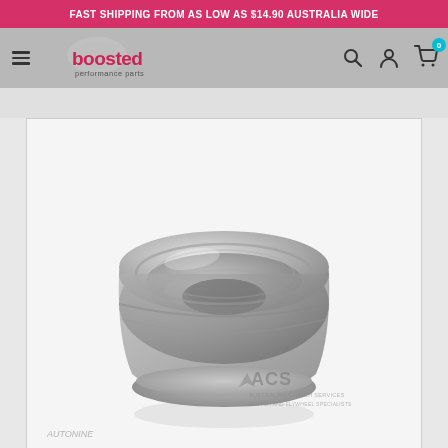FAST SHIPPING FROM AS LOW AS $14.90 AUSTRALIA WIDE
[Figure (logo): Boosted Performance Parts logo - hamburger menu, logo with 'boosted performance parts' text]
[Figure (photo): Silver/chrome clutch release bearing (throw-out bearing) product photo on white background, with ACS (Australian Clutch Services) watermark and AutoNine watermark at bottom]